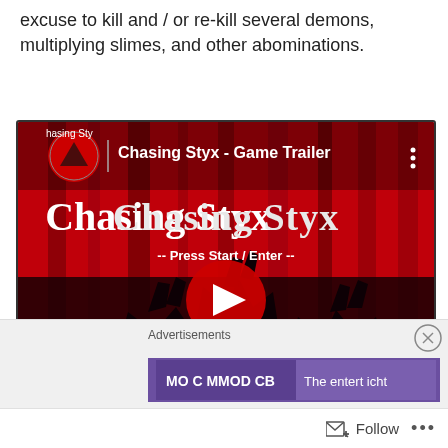excuse to kill and / or re-kill several demons, multiplying slimes, and other abominations.
[Figure (screenshot): YouTube-style embedded video thumbnail for 'Chasing Styx - Game Trailer'. Shows game title 'Chasing Styx' in gothic font on red background with silhouettes of wolf-like creatures. Includes a red play button in the center, channel icon top-left, '-- Press Start / Enter --' text, and a vertical dots menu icon top-right.]
Advertisements
[Figure (screenshot): Advertisement banner with purple background, partially visible. Close button (X in circle) visible top-right of ad area.]
Follow